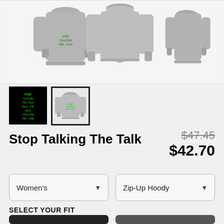[Figure (photo): Gray zip-up hoodie product image showing front and back views on white background]
[Figure (photo): Thumbnail 1: black background with green text design]
[Figure (photo): Thumbnail 2: gray hoodie back view with green text, currently selected]
Stop Talking The Talk
$47.45 (strikethrough original price)
$42.70 (sale price)
Women's (dropdown)
Zip-Up Hoody (dropdown)
SELECT YOUR FIT